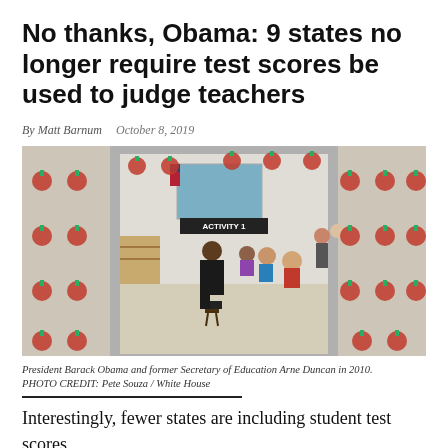No thanks, Obama: 9 states no longer require test scores be used to judge teachers
By Matt Barnum   October 8, 2019
[Figure (photo): President Barack Obama and former Secretary of Education Arne Duncan in a classroom with apple decorations around the doorframe, students seated in a group, 2010.]
President Barack Obama and former Secretary of Education Arne Duncan in 2010.
PHOTO CREDIT: Pete Souza / White House
Interestingly, fewer states are including student test scores